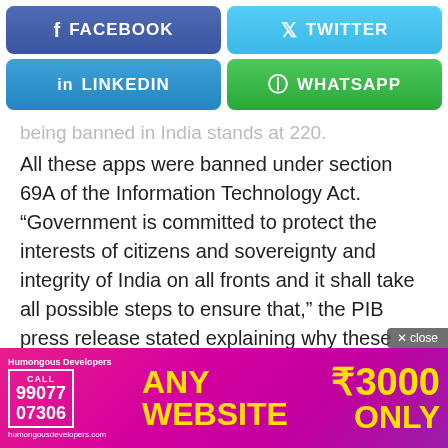[Figure (screenshot): Social media share buttons: Facebook (dark blue), Twitter (light blue), LinkedIn (blue), WhatsApp (green)]
being banned in India stands at 220.
All these apps were banned under section 69A of the Information Technology Act. “Government is committed to protect the interests of citizens and sovereignty and integrity of India on all fronts and it shall take all possible steps to ensure that,” the PIB press release stated explaining why these apps have
[Figure (infographic): Advertisement banner: Humongous Developers. ANY WEBSITE ₹3000 ONLY. Call 99077 07306. humongousdevelopers.com]